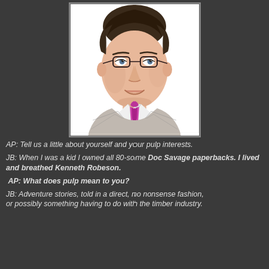[Figure (illustration): Color illustration/caricature of a man wearing glasses, a checkered/plaid jacket, white shirt, and pink/magenta tie. The drawing has a sketchy, digital illustration style with warm skin tones.]
AP: Tell us a little about yourself and your pulp interests.
JB: When I was a kid I owned all 80-some Doc Savage paperbacks. I lived and breathed Kenneth Robeson.
AP: What does pulp mean to you?
JB: Adventure stories, told in a direct, no nonsense fashion, or possibly something having to do with the timber industry.